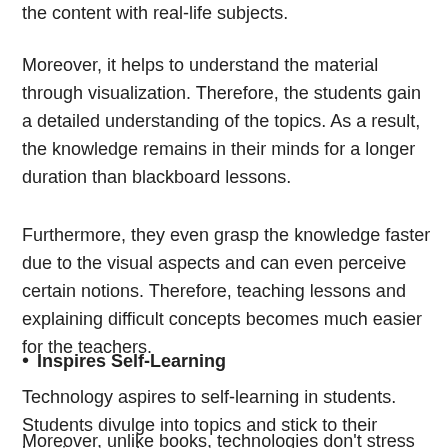the content with real-life subjects.
Moreover, it helps to understand the material through visualization. Therefore, the students gain a detailed understanding of the topics. As a result, the knowledge remains in their minds for a longer duration than blackboard lessons.
Furthermore, they even grasp the knowledge faster due to the visual aspects and can even perceive certain notions. Therefore, teaching lessons and explaining difficult concepts becomes much easier for the teachers.
Inspires Self-Learning
Technology aspires to self-learning in students. Students divulge into topics and stick to their learning speed.
Moreover, unlike books, technologies don't stress students